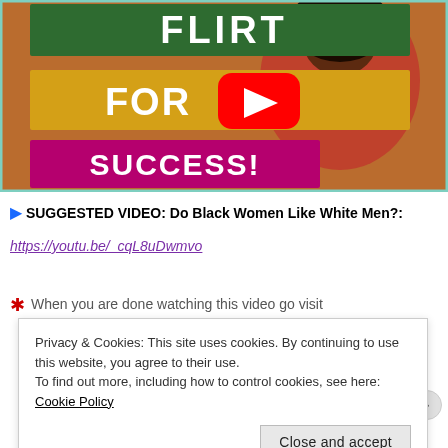[Figure (screenshot): YouTube video thumbnail for 'Flirt for Success!' showing a smiling Black woman in a red dress against a brick wall background, with green, yellow and magenta colored title text overlay and a YouTube play button icon.]
▶ SUGGESTED VIDEO: Do Black Women Like White Men?:
https://youtu.be/_cqL8uDwmvo
🌸  When you are done watching this video go visit
Privacy & Cookies: This site uses cookies. By continuing to use this website, you agree to their use.
To find out more, including how to control cookies, see here: Cookie Policy
Close and accept